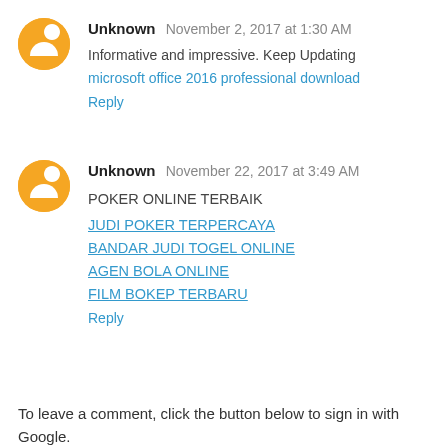Unknown  November 2, 2017 at 1:30 AM
Informative and impressive. Keep Updating
microsoft office 2016 professional download
Reply
Unknown  November 22, 2017 at 3:49 AM
POKER ONLINE TERBAIK
JUDI POKER TERPERCAYA
BANDAR JUDI TOGEL ONLINE
AGEN BOLA ONLINE
FILM BOKEP TERBARU
Reply
To leave a comment, click the button below to sign in with Google.